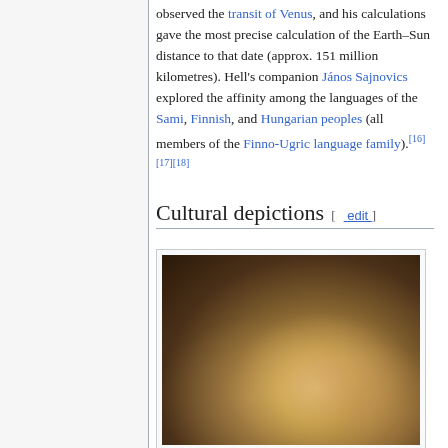observed the transit of Venus, and his calculations gave the most precise calculation of the Earth–Sun distance to that date (approx. 151 million kilometres). Hell's companion János Sajnovics explored the affinity among the languages of the Sami, Finnish, and Hungarian peoples (all members of the Finno-Ugric language family).[16][17][18]
Cultural depictions [ edit ]
[Figure (photo): Historical painting depicting elegantly dressed figures in an interior scene, likely 18th century European, showing multiple people in elaborate period costumes in a richly decorated room.]